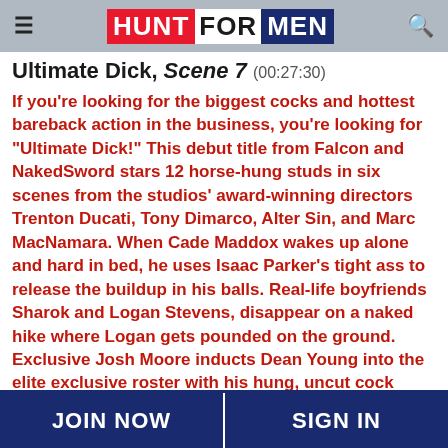HUNT FOR MEN
Ultimate Dick, Scene 7 (00:27:30)
If you're looking for the biggest cocks and hottest bareback action in the business, you're looking for "Ultimate Dick!" This debut title from Falcon and NakedSword stars 12 horse-hung studs in six scenes from the studios' award-winning directors Trenton Ducati, Tony Dimarco, Alter Sin, and Marc MacNamara. When Cade Maddox wakes up alone and hard in bed, he uses Isaac Parker's tight ass to release the buildup in his balls. Real-life boyfriends Sharok and Logan Stevens, disappear on a naked hike where Logan gets pounded on the ground. Exclusive Josh Moore inducts Dean Young into the elite exclusive roster with his hung, uncut cock deep in Dean's insatiable bubble-butt. With stay-at-home orders in place, it's hard to hook up, so roommates Quin Quire and Johnny Ford fuck each other. After noticing each other during a workout, Jax Thirio heads to Dalton Riley's place to fuck his brains out. Finally, Boomer Banks
JOIN NOW | SIGN IN